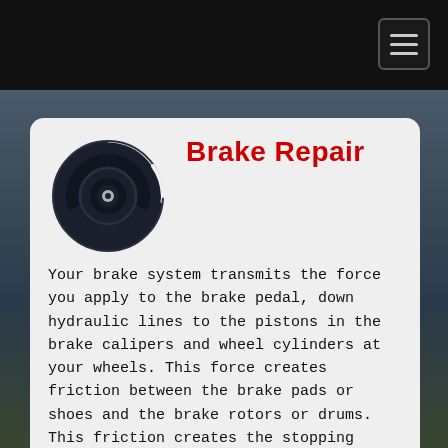Brake Repair
[Figure (illustration): Brake disc/rotor icon — dark circular brake disc with rotor vents and center hub, shown in dark navy/black silhouette]
Your brake system transmits the force you apply to the brake pedal, down hydraulic lines to the pistons in the brake calipers and wheel cylinders at your wheels. This force creates friction between the brake pads or shoes and the brake rotors or drums. This friction creates the stopping force needed to quickly and safely stop your car. If you're experiencing brake symptoms such as a squealing or grinding noise, a pulsating brake pedal, an abnormal amount of brake pedal travel, or a red brake